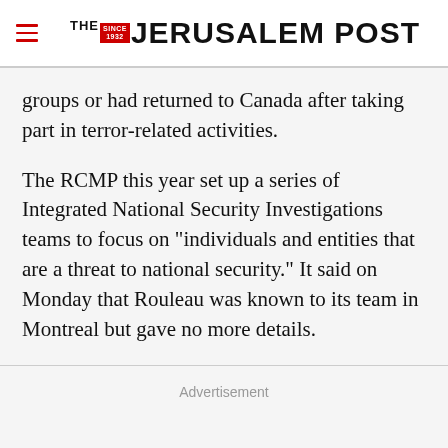THE JERUSALEM POST
groups or had returned to Canada after taking part in terror-related activities.

The RCMP this year set up a series of Integrated National Security Investigations teams to focus on "individuals and entities that are a threat to national security." It said on Monday that Rouleau was known to its team in Montreal but gave no more details.
Advertisement